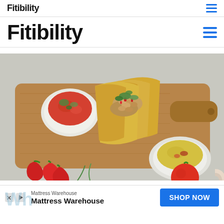Fitibility
Fitibility
[Figure (photo): Three tacos filled with beans, vegetables, and toppings on a wooden cutting board, with small white bowls of salsa and dipping sauce, red chili peppers, tomato, and onion on a light grey surface.]
Mattress Warehouse
Mattress Warehouse
SHOP NOW
Wh...